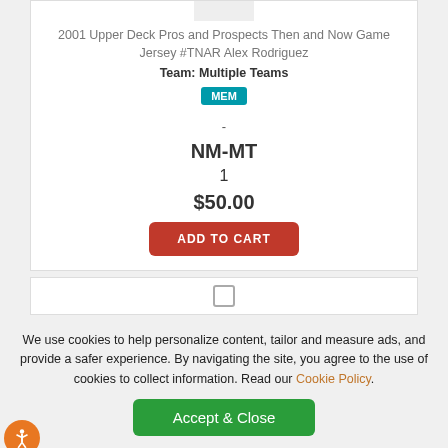2001 Upper Deck Pros and Prospects Then and Now Game Jersey #TNAR Alex Rodriguez
Team: Multiple Teams
MEM
-
NM-MT
1
$50.00
ADD TO CART
We use cookies to help personalize content, tailor and measure ads, and provide a safer experience. By navigating the site, you agree to the use of cookies to collect information. Read our Cookie Policy.
Accept & Close